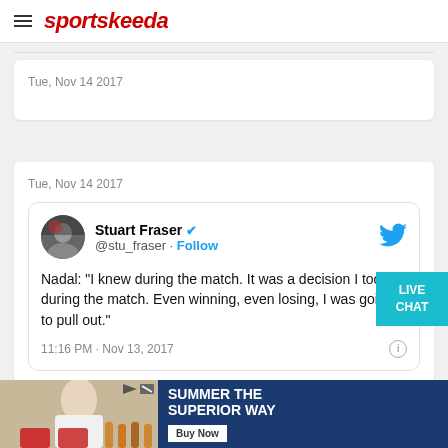sportskeeda
Tue, Nov 14 2017
Tue, Nov 14 2017
[Figure (screenshot): Tweet from Stuart Fraser (@stu_fraser) with verified badge. Text: Nadal: "I knew during the match. It was a decision I took during the match. Even winning, even losing, I was going to pull out." Timestamp: 11:16 PM · Nov 13, 2017]
[Figure (other): LIVE CHAT button]
[Figure (other): Advertisement banner: SUMMER THE SUPERIOR WAY with Buy Now button]